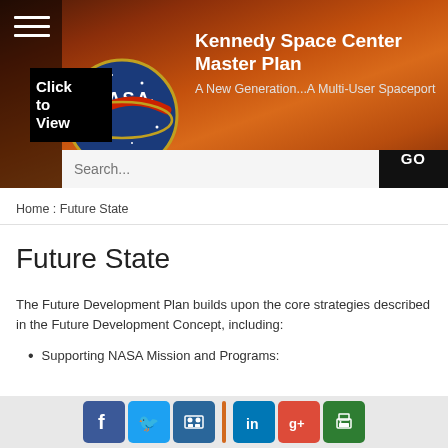[Figure (logo): NASA meatball logo and Kennedy Space Center Master Plan website header with orange/brown Mars-like background]
Kennedy Space Center Master Plan
A New Generation...A Multi-User Spaceport
Search...
Home : Future State
Future State
The Future Development Plan builds upon the core strategies described in the Future Development Concept, including:
Supporting NASA Mission and Programs:
[Figure (infographic): Social sharing footer bar with Facebook, Twitter, GovDelivery, LinkedIn, Google+, and Print icons]